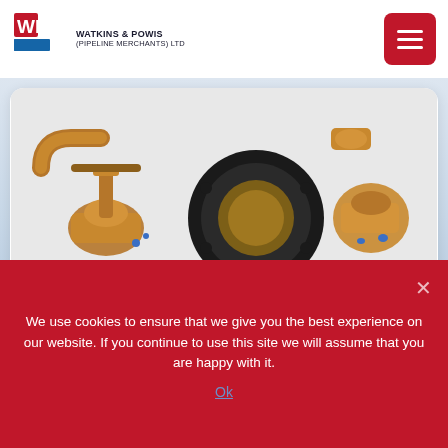[Figure (logo): Watkins & Powis (Pipeline Merchants) Ltd logo with red and blue WP icon and company name text]
[Figure (photo): Product photo showing various pipeline fittings and valves including bronze gate valves, ball valves, and pipe fittings on a white background]
Please contact our sales office for the suitability of each product range or see the full catalogue for further
We use cookies to ensure that we give you the best experience on our website. If you continue to use this site we will assume that you are happy with it.
Ok